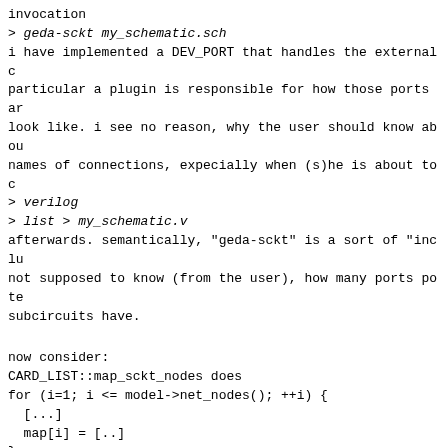invocation
> geda-sckt my_schematic.sch
i have implemented a DEV_PORT that handles the external c
particular a plugin is responsible for how those ports ar
look like. i see no reason, why the user should know abou
names of connections, expecially when (s)he is about to c
> verilog
> list > my_schematic.v
afterwards. semantically, "geda-sckt" is a sort of "inclu
not supposed to know (from the user), how many ports pote
subcircuits have.
now consider:
CARD_LIST::map_sckt_nodes does
for (i=1; i <= model->net_nodes(); ++i) {
  [...]
  map[i] = [..]
}
(the lower part of) map is used later on to map the e_()
node_t's of subdevices to the number of the node allocate
my understanding is, that this requires the external node
numbered up from 1.
here the node number originates from how_many() in NODE_M
which is called when nodes inside of a subckt-declaration
in particular, external nodes need to be registered first
possible here).
in order to make the above "geda-sckt" command work one w
have to